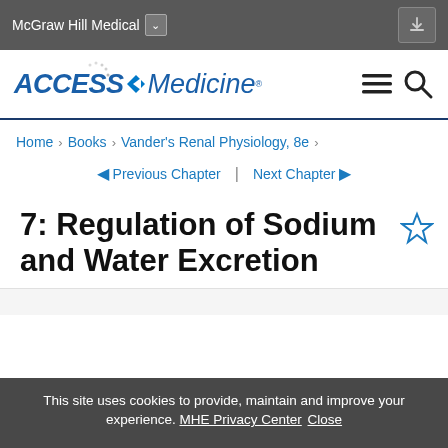McGraw Hill Medical
[Figure (logo): AccessMedicine logo with navigation icons]
Home > Books > Vander's Renal Physiology, 8e >
◄ Previous Chapter | Next Chapter ►
7: Regulation of Sodium and Water Excretion
This site uses cookies to provide, maintain and improve your experience. MHE Privacy Center Close